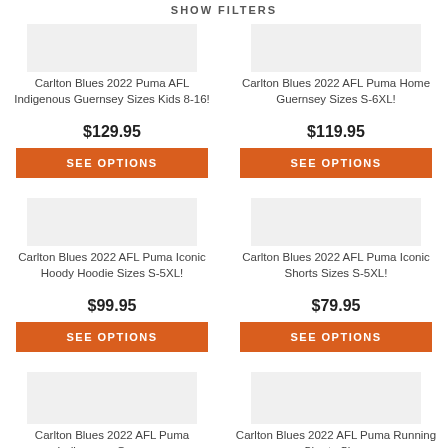SHOW FILTERS
Carlton Blues 2022 Puma AFL Indigenous Guernsey Sizes Kids 8-16!
$129.95
SEE OPTIONS
Carlton Blues 2022 AFL Puma Home Guernsey Sizes S-6XL!
$119.95
SEE OPTIONS
Carlton Blues 2022 AFL Puma Iconic Hoody Hoodie Sizes S-5XL!
$99.95
SEE OPTIONS
Carlton Blues 2022 AFL Puma Iconic Shorts Sizes S-5XL!
$79.95
SEE OPTIONS
Carlton Blues 2022 AFL Puma Indigenous Guernsey
Carlton Blues 2022 AFL Puma Running Shorts Sizes